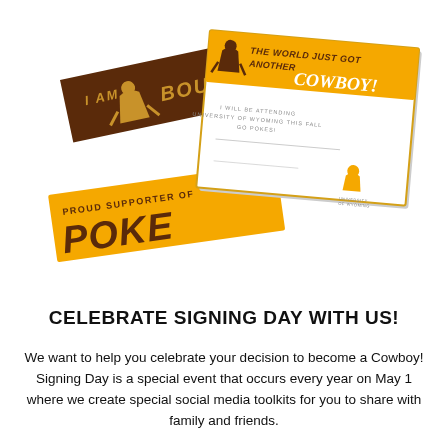[Figure (photo): University of Wyoming Signing Day promotional materials showing a brown arrow-shaped pennant reading 'I AM BOUND', a gold banner reading 'PROUD SUPPORTER OF POKE', and a white certificate/card reading 'THE WORLD JUST GOT ANOTHER COWBOY!' with University of Wyoming branding.]
CELEBRATE SIGNING DAY WITH US!
We want to help you celebrate your decision to become a Cowboy! Signing Day is a special event that occurs every year on May 1 where we create special social media toolkits for you to share with family and friends.